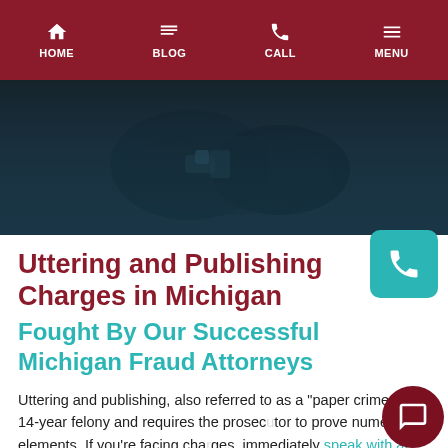HOME | BLOG | CALL | MENU
[Figure (photo): Dark hero image showing person in handcuffs, teal/dark overlay]
Uttering and Publishing Charges in Michigan
Fought By Our Successful Michigan Fraud Attorneys
Uttering and publishing, also referred to as a "paper crime," is a 14-year felony and requires the prosecutor to prove numerous elements. If you're facing charges, immediately speak with an uttering and publishing